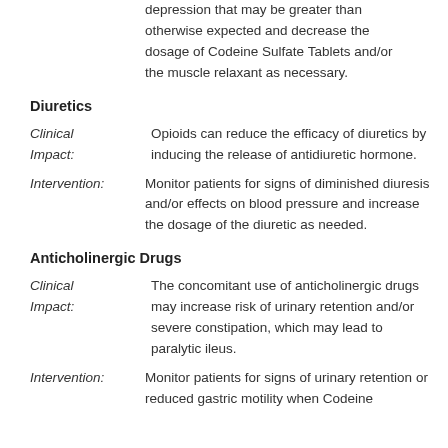depression that may be greater than otherwise expected and decrease the dosage of Codeine Sulfate Tablets and/or the muscle relaxant as necessary.
Diuretics
Clinical Impact: Opioids can reduce the efficacy of diuretics by inducing the release of antidiuretic hormone.
Intervention: Monitor patients for signs of diminished diuresis and/or effects on blood pressure and increase the dosage of the diuretic as needed.
Anticholinergic Drugs
Clinical Impact: The concomitant use of anticholinergic drugs may increase risk of urinary retention and/or severe constipation, which may lead to paralytic ileus.
Intervention: Monitor patients for signs of urinary retention or reduced gastric motility when Codeine